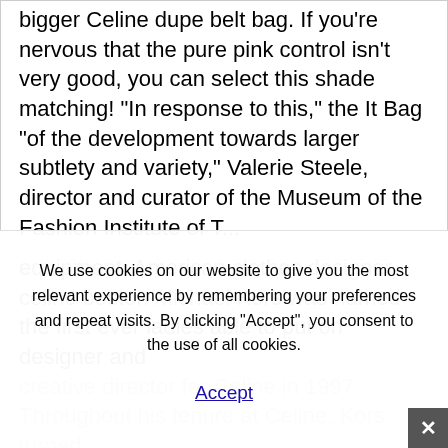bigger Celine dupe belt bag. If you're nervous that the pure pink control isn't very good, you can select this shade matching! "In response to this," the It Bag "of the development towards larger subtlety and variety," Valerie Steele, director and curator of the Museum of the Fashion Institute of T...
We use cookies on our website to give you the most relevant experience by remembering your preferences and repeat visits. By clicking "Accept", you consent to the use of all cookies.
Accept
equipment. American clothes designer celine boston Michael Kors was named the first ever ladies able to put on designer and
creative director for Celine in 1997. Throughout his tenure at Celine, Kors turned